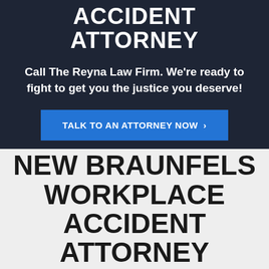ACCIDENT ATTORNEY
Call The Reyna Law Firm. We're ready to fight to get you the justice you deserve!
TALK TO AN ATTORNEY NOW ›
NEW BRAUNFELS WORKPLACE ACCIDENT ATTORNEY